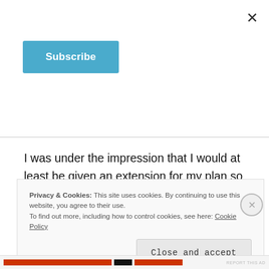×
Subscribe
I was under the impression that I would at least be given an extension for my plan so that I may continue to pay my support workers while the new plan is formulated. However, my plan had expired and I was becoming very worried. I was given my planner, Ben's, email address and I tried to get in touch with him.
Privacy & Cookies: This site uses cookies. By continuing to use this website, you agree to their use. To find out more, including how to control cookies, see here: Cookie Policy
Close and accept